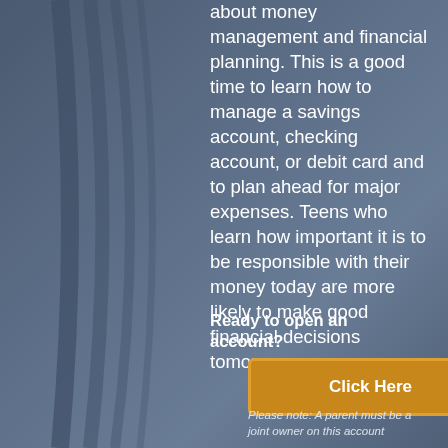about money management and financial planning. This is a good time to learn how to manage a savings account, checking account, or debit card and to plan ahead for major expenses. Teens who learn how important it is to be responsible with their money today are more likely to make good financial decisions tomorrow.
Ready to open an account?
[Figure (other): A gold/amber colored button with white bold text reading 'Click Here', with a darker border]
Please note: A parent must be a joint owner on this account